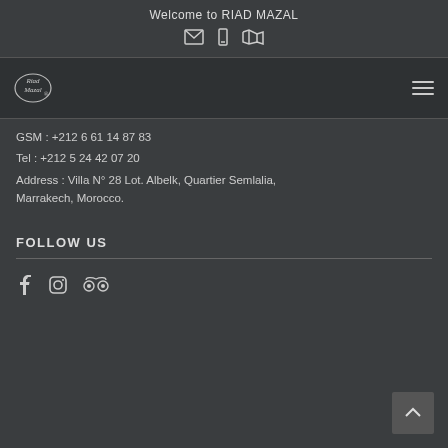Welcome to RIAD MAZAL
[Figure (illustration): Three icons: envelope, phone/bookmark, map icons in header bar]
[Figure (logo): Riad Mazal circular logo with cursive text]
GSM : +212 6 61 14 87 83
Tel : +212 5 24 42 07 20
Address : Villa N° 28 Lot. Albelk, Quartier Semlalia, Marrakech, Morocco.
FOLLOW US
[Figure (illustration): Social media icons: Facebook, Instagram, TripAdvisor]